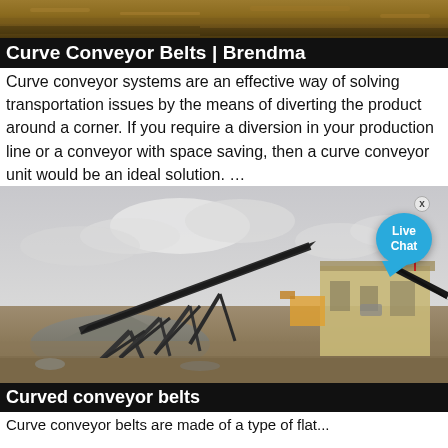[Figure (photo): Top strip image showing dusty ground/gravel, light brown earthy texture - a partial header photo]
Curve Conveyor Belts | Brendma
Curve conveyor systems are an effective way of solving transportation issues by the means of diverting the product around a corner. If you require a diversion in your production line or a conveyor with space saving, then a curve conveyor unit would be an ideal solution. …
[Figure (photo): Industrial photo of a large inclined conveyor belt structure at a mining/quarrying site with gravel piles, machinery, cloudy sky. A live chat bubble overlay appears in the top right corner.]
Curved conveyor belts
Curve conveyor belts are made of a type of flat...